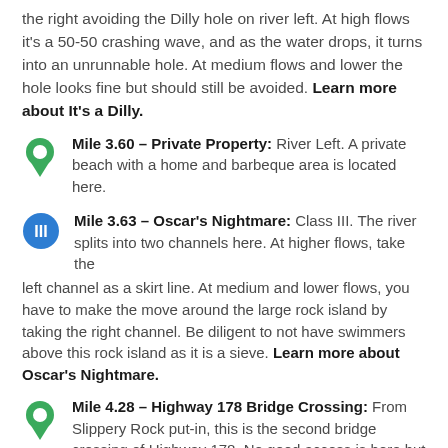the right avoiding the Dilly hole on river left. At high flows it's a 50-50 crashing wave, and as the water drops, it turns into an unrunnable hole. At medium flows and lower the hole looks fine but should still be avoided. Learn more about It's a Dilly.
Mile 3.60 – Private Property: River Left. A private beach with a home and barbeque area is located here.
Mile 3.63 – Oscar's Nightmare: Class III. The river splits into two channels here. At higher flows, take the left channel as a skirt line. At medium and lower flows, you have to make the move around the large rock island by taking the right channel. Be diligent to not have swimmers above this rock island as it is a sieve. Learn more about Oscar's Nightmare.
Mile 4.28 – Highway 178 Bridge Crossing: From Slippery Rock put-in, this is the second bridge crossing of Highway 178. No good access is here but you could